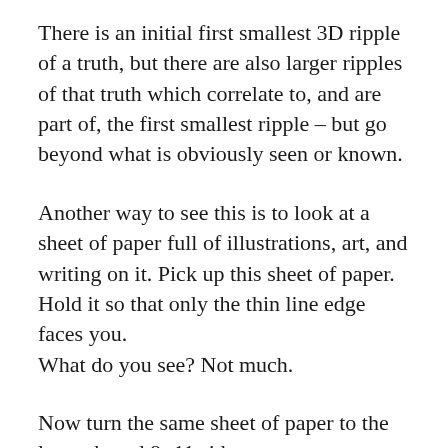There is an initial first smallest 3D ripple of a truth, but there are also larger ripples of that truth which correlate to, and are part of, the first smallest ripple – but go beyond what is obviously seen or known.
Another way to see this is to look at a sheet of paper full of illustrations, art, and writing on it. Pick up this sheet of paper. Hold it so that only the thin line edge faces you.
What do you see? Not much.
Now turn the same sheet of paper to the larger broad 8×11 side.
Coming into a greater Truth about something